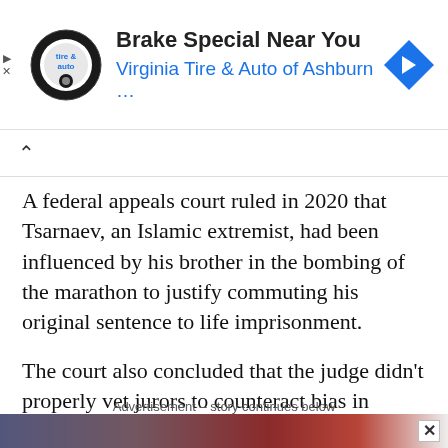[Figure (other): Advertisement banner: Virginia Tire & Auto of Ashburn. Shows tire-and-auto logo on left, large bold text 'Brake Special Near You' and blue subtitle 'Virginia Tire & Auto of Ashburn …', blue diamond navigation arrow icon on right. Play and X controls on far left.]
A federal appeals court ruled in 2020 that Tsarnaev, an Islamic extremist, had been influenced by his brother in the bombing of the marathon to justify commuting his original sentence to life imprisonment.
The court also concluded that the judge didn't properly vet jurors to counteract bias in Tsarnaev's original trial.
Advertisement – story continues below
[Figure (photo): Bottom strip showing partial image of an American flag, red white and blue colors visible.]